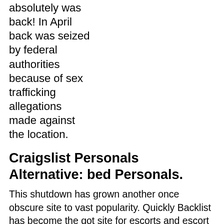absolutely was back! In April back was seized by federal authorities because of sex trafficking allegations made against the location.
Craigslist Personals Alternative: bed Personals.
This shutdown has grown another once obscure site to vast popularity. Quickly Backlist has become the got site for escorts and escort agencies within the US. As a back and craigslist alternative website, bed is that the 1 site consistent with social media and search engines like Google, Yahoo, Bing etc.